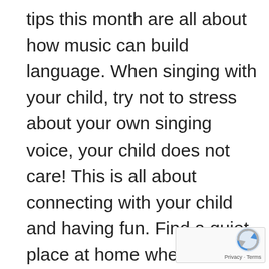tips this month are all about how music can build language. When singing with your child, try not to stress about your own singing voice, your child does not care! This is all about connecting with your child and having fun. Find a quiet place at home where no one else is around and have a go at singing a few nursery rhymes with your child. Which ones do they respond to most? Make it exciting by using actions and an expressive voice. We learn when we're having fun! What was your favourite nursery rhyme growing up?